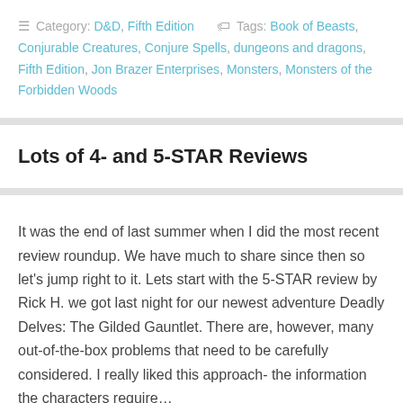Category: D&D, Fifth Edition   Tags: Book of Beasts, Conjurable Creatures, Conjure Spells, dungeons and dragons, Fifth Edition, Jon Brazer Enterprises, Monsters, Monsters of the Forbidden Woods
Lots of 4- and 5-STAR Reviews
It was the end of last summer when I did the most recent review roundup. We have much to share since then so let's jump right to it. Lets start with the 5-STAR review by Rick H. we got last night for our newest adventure Deadly Delves: The Gilded Gauntlet. There are, however, many out-of-the-box problems that need to be carefully considered. I really liked this approach- the information the characters require...